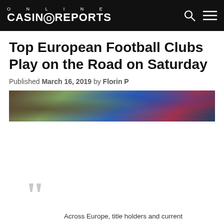ONLINE CASINOREPORTS
Top European Football Clubs Play on the Road on Saturday
Published March 16, 2019 by Florin P
[Figure (photo): Football players in action, player wearing blue jersey visible]
Across Europe, title holders and current